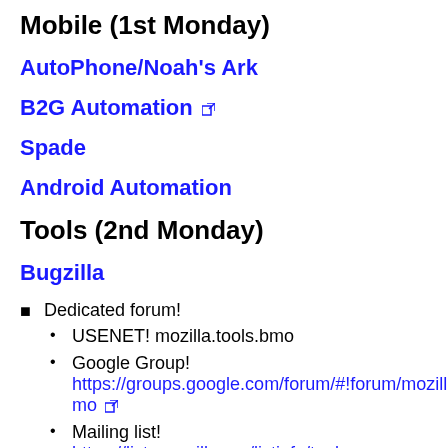Mobile (1st Monday)
AutoPhone/Noah's Ark
B2G Automation
Spade
Android Automation
Tools (2nd Monday)
Bugzilla
Dedicated forum!
USENET! mozilla.tools.bmo
Google Group! https://groups.google.com/forum/#!forum/mozilla.tools.bmo
Mailing list! https://lists.mozilla.org/listinfo/tools-bmo